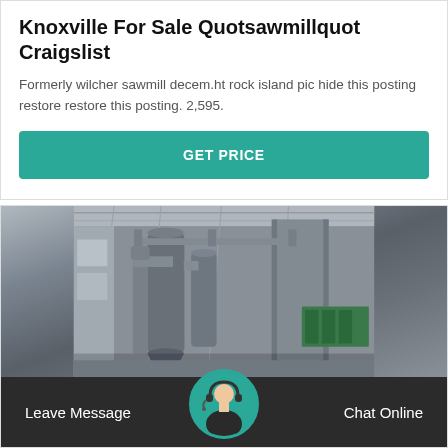Knoxville For Sale Quotsawmillquot Craigslist
Formerly wilcher sawmill decem.ht rock island pic hide this posting restore restore this posting. 2,595.
GET PRICE
[Figure (photo): Industrial machinery inside a warehouse/factory building — large pipes, cyclone dust collector, conveyor systems, metal framework and green equipment visible]
Leave Message
Chat Online